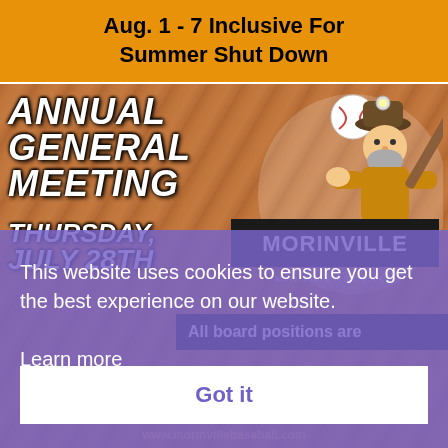Aug. 1 - 7 Inclusive For Summer Shut Down
[Figure (illustration): Morinville Minor Baseball Annual General Meeting promotional image with baseball diamond dirt background. Left side shows bold italic white text: ANNUAL GENERAL MEETING, THURSDAY, JULY 28TH. Right side shows Morinville Minor Baseball cartoon logo with a miner character holding a bat, a baseball, and the Morinville Minor Baseball wordmark. A black banner reads 'All board positions are'.]
This website uses cookies to ensure you get the best experience on our website.
Learn more
Got it